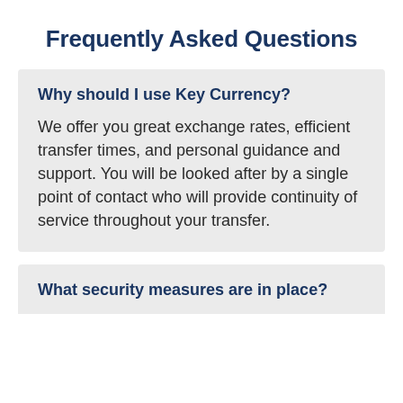Frequently Asked Questions
Why should I use Key Currency?
We offer you great exchange rates, efficient transfer times, and personal guidance and support. You will be looked after by a single point of contact who will provide continuity of service throughout your transfer.
What security measures are in place?